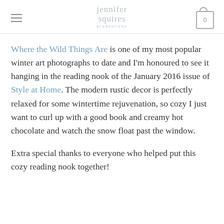jennifer squires productions
Where the Wild Things Are is one of my most popular winter art photographs to date and I'm honoured to see it hanging in the reading nook of the January 2016 issue of Style at Home. The modern rustic decor is perfectly relaxed for some wintertime rejuvenation, so cozy I just want to curl up with a good book and creamy hot chocolate and watch the snow float past the window.
Extra special thanks to everyone who helped put this cozy reading nook together!